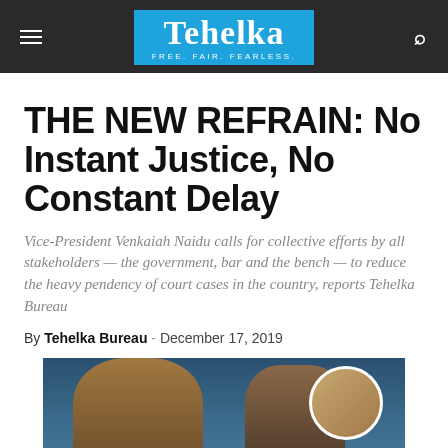Tehelka — FREE. FAIR. FEARLESS.
THE NEW REFRAIN: No Instant Justice, No Constant Delay
Vice-President Venkaiah Naidu calls for collective efforts by all stakeholders — the government, bar and the bench — to reduce the heavy pendency of court cases in the country, reports Tehelka Bureau
By Tehelka Bureau - December 17, 2019
[Figure (photo): Photo of Vice-President Venkaiah Naidu with another official, with a circular inset portrait on the right]